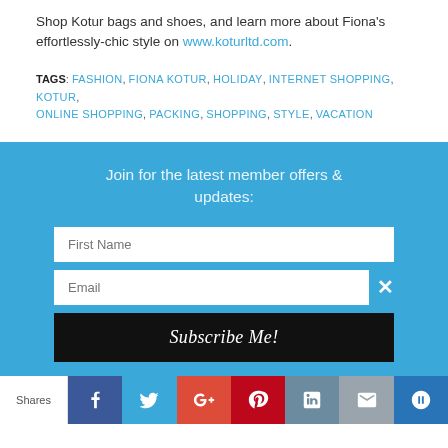Shop Kotur bags and shoes, and learn more about Fiona's effortlessly-chic style on www.koturltd.com.
TAGS: FASHION, FIONA KOTUR, HOLIDAY, INTERNET SHOPPING, KOTUR, ONLINE SHOPPING, PACKING, SHOPPING, STYLE, VACATION
Join for the latest member offers & updates:
First Name
Email
Subscribe Me!
Shares